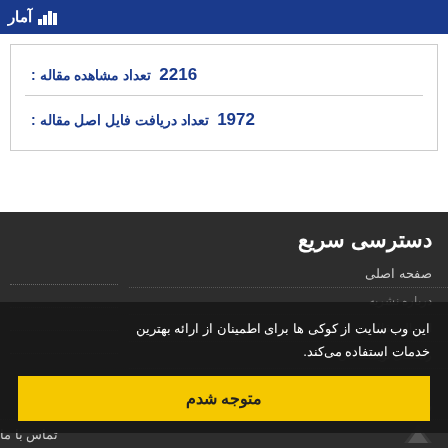آمار
تعداد مشاهده مقاله: 2216
تعداد دریافت فایل اصل مقاله: 1972
دسترسی سریع
صفحه اصلی
درباره نشریه
این وب سایت از کوکی ها برای اطمینان از ارائه بهترین خدمات استفاده می‌کند.
متوجه شدم
ارسال مقاله
راهنمای نویسندگان
سیاست‌ها
تماس با ما